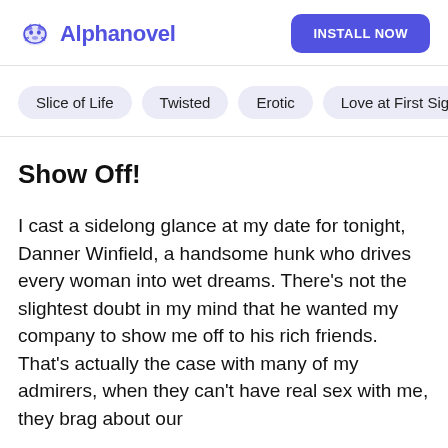Alphanovel   INSTALL NOW
Slice of Life
Twisted
Erotic
Love at First Sight
Show Off!
I cast a sidelong glance at my date for tonight, Danner Winfield, a handsome hunk who drives every woman into wet dreams. There's not the slightest doubt in my mind that he wanted my company to show me off to his rich friends. That's actually the case with many of my admirers, when they can't have real sex with me, they brag about our